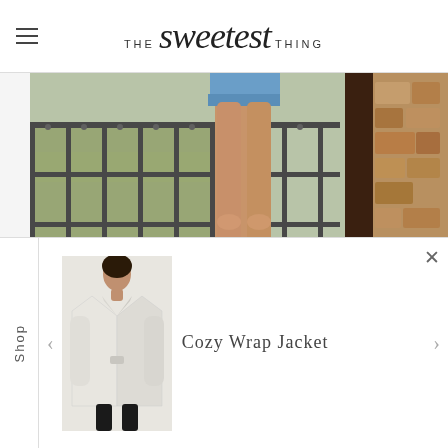THE sweetest THING
[Figure (photo): Close-up photo of a woman's legs in denim shorts and white/pink sneakers standing on a wooden deck with dark metal railing and stone wall background]
Shop
[Figure (photo): Product photo of a Cozy Wrap Jacket — a white/cream wrap-style jacket worn by a model]
Cozy Wrap Jacket